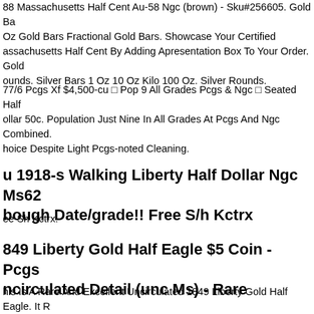88 Massachusetts Half Cent Au-58 Ngc (brown) - Sku#256605. Gold Bars 1 Oz Gold Bars Fractional Gold Bars. Showcase Your Certified Massachusetts Half Cent By Adding Apresentation Box To Your Order. Gold Rounds. Silver Bars 1 Oz 10 Oz Kilo 100 Oz. Silver Rounds.
77/6 Pcgs Xf $4,500-cu □ Pop 9 All Grades Pcgs & Ngc □ Seated Half Dollar 50c. Population Just Nine In All Grades At Pcgs And Ngc Combined. Choice Despite Light Pcgs-noted Cleaning.
u 1918-s Walking Liberty Half Dollar Ngc Ms62 bough Date/grade!! Free S/h Kctrx
ee Sh Kctrx.
849 Liberty Gold Half Eagle $5 Coin - Pcgs Uncirculated Detail (unc Ms) - Rare
his Is A Rare And Excellent Uncirculated 1849 Liberty Gold Half Eagle. It R Scarce Date With Uncirculated Details - Most Rate Xf40 Or Lower. Quite remarkable And Scarce Classic Gold Piece! Straight Up!!